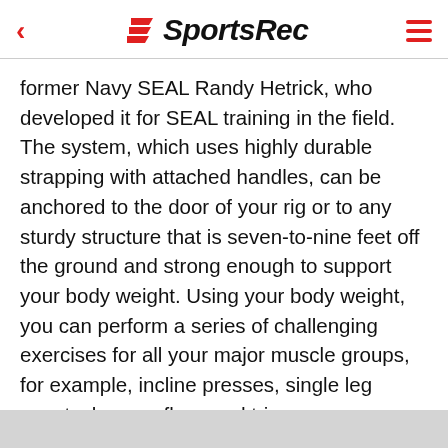SportsRec
former Navy SEAL Randy Hetrick, who developed it for SEAL training in the field. The system, which uses highly durable strapping with attached handles, can be anchored to the door of your rig or to any sturdy structure that is seven-to-nine feet off the ground and strong enough to support your body weight. Using your body weight, you can perform a series of challenging exercises for all your major muscle groups, for example, incline presses, single leg squats, lunges, flyes and tricep presses. When you finish your workout, you may compactly roll up the straps and fit them into a small bag.